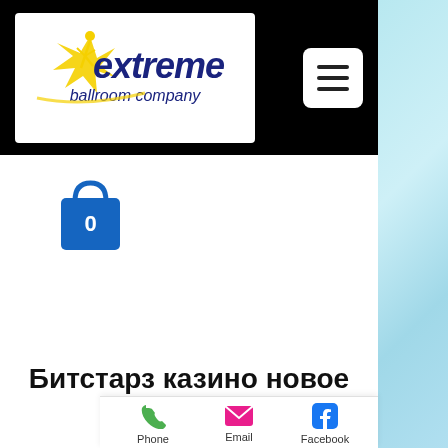[Figure (logo): Extreme Ballroom Company logo with yellow dancer figure and blue italic text]
[Figure (other): Shopping bag icon in blue with number 0 inside]
Битстарз казино новое
[Figure (other): Contact bar with Phone (green phone icon), Email (pink envelope icon), Facebook (blue Facebook icon)]